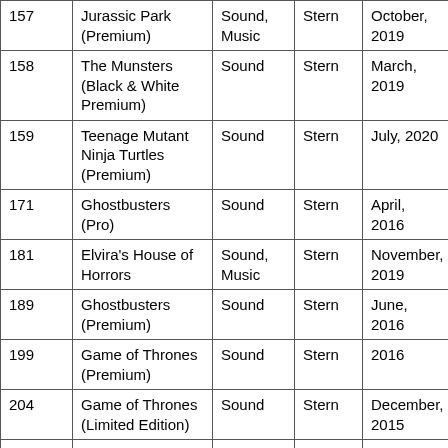| 157 | Jurassic Park (Premium) | Sound, Music | Stern | October, 2019 |
| 158 | The Munsters (Black & White Premium) | Sound | Stern | March, 2019 |
| 159 | Teenage Mutant Ninja Turtles (Premium) | Sound | Stern | July, 2020 |
| 171 | Ghostbusters (Pro) | Sound | Stern | April, 2016 |
| 181 | Elvira's House of Horrors | Sound, Music | Stern | November, 2019 |
| 189 | Ghostbusters (Premium) | Sound | Stern | June, 2016 |
| 199 | Game of Thrones (Premium) | Sound | Stern | 2016 |
| 204 | Game of Thrones (Limited Edition) | Sound | Stern | December, 2015 |
| 207 | Iron Maiden Legacy Of The Beast (Pro) | Sound, Music | Stern | March, 2018 |
| 210 | Black Knight Sword of Rage (Pro) | Sound | Stern | April, 2019 |
| 249 | Game of ... | Sound | Stern | 2015 |